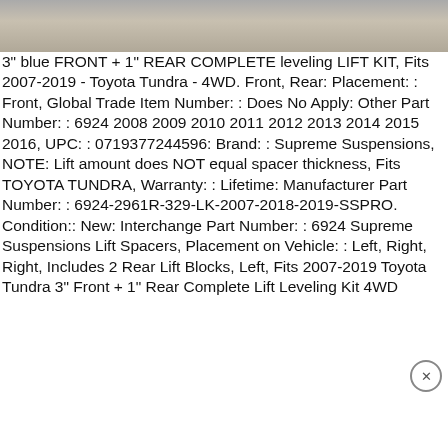[Figure (photo): Top strip showing a partial photo of a concrete or pavement surface with some object, faded/cropped]
3" blue FRONT + 1" REAR COMPLETE leveling LIFT KIT, Fits 2007-2019 - Toyota Tundra - 4WD. Front, Rear: Placement: : Front, Global Trade Item Number: : Does No Apply: Other Part Number: : 6924 2008 2009 2010 2011 2012 2013 2014 2015 2016, UPC: : 0719377244596: Brand: : Supreme Suspensions, NOTE: Lift amount does NOT equal spacer thickness, Fits TOYOTA TUNDRA, Warranty: : Lifetime: Manufacturer Part Number: : 6924-2961R-329-LK-2007-2018-2019-SSPRO. Condition:: New: Interchange Part Number: : 6924 Supreme Suspensions Lift Spacers, Placement on Vehicle: : Left, Right, Right, Includes 2 Rear Lift Blocks, Left, Fits 2007-2019 Toyota Tundra 3" Front + 1" Rear Complete Lift Leveling Kit 4WD